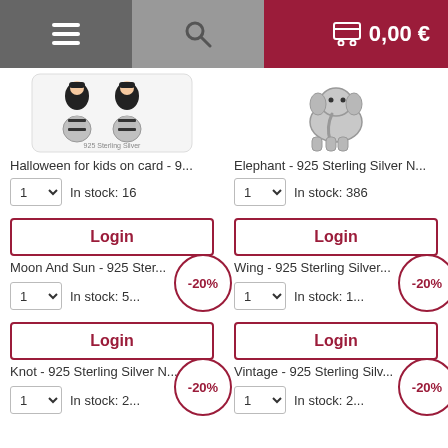Menu | Search | Cart 0,00 €
[Figure (photo): Halloween for kids earrings set on card - 925 Sterling Silver product image]
[Figure (photo): Elephant - 925 Sterling Silver charm product image]
Halloween for kids on card - 9...
Elephant - 925 Sterling Silver N...
1  In stock: 16
1  In stock: 386
Login
Login
Moon And Sun - 925 Ster...
Wing - 925 Sterling Silver...
1  In stock: 5...
1  In stock: 1...
-20%
-20%
Login
Login
Knot - 925 Sterling Silver N...
Vintage - 925 Sterling Silv...
1  In stock: 2...
1  In stock: 2...
-20%
-20%